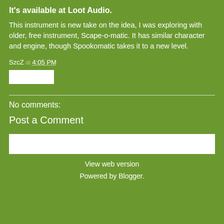It's available at Loot Audio.
This instrument is new take on the idea, I was exploring with older, free instrument, Scape-o-matic. It has similar character and engine, though Spookomatic takes it to a new level.
SzcZ at 4:05 PM
No comments:
Post a Comment
View web version
Powered by Blogger.